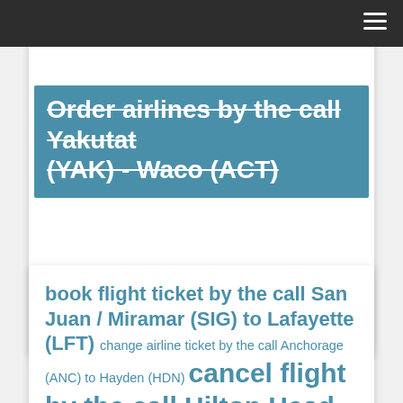Order airlines by the call Yakutat (YAK) - Waco (ACT)
book flight ticket by the call San Juan / Miramar (SIG) to Lafayette (LFT) change airline ticket by the call Anchorage (ANC) to Hayden (HDN) cancel flight by the call Hilton Head (HXD) - Palm Springs (PSP)